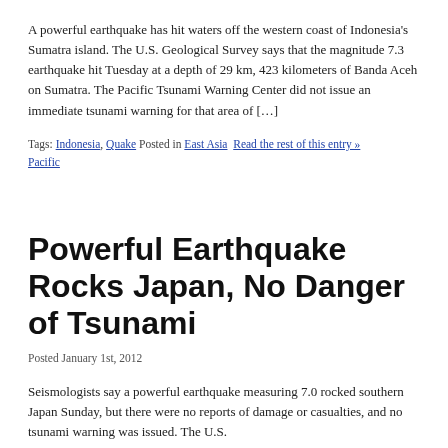A powerful earthquake has hit waters off the western coast of Indonesia's Sumatra island. The U.S. Geological Survey says that the magnitude 7.3 earthquake hit Tuesday at a depth of 29 km, 423 kilometers of Banda Aceh on Sumatra. The Pacific Tsunami Warning Center did not issue an immediate tsunami warning for that area of […]
Tags: Indonesia, Quake Posted in East Asia  Read the rest of this entry » Pacific
Powerful Earthquake Rocks Japan, No Danger of Tsunami
Posted January 1st, 2012
Seismologists say a powerful earthquake measuring 7.0 rocked southern Japan Sunday, but there were no reports of damage or casualties, and no tsunami warning was issued. The U.S.